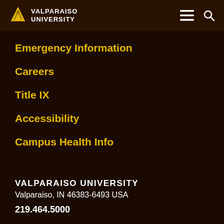VALPARAISO UNIVERSITY
Emergency Information
Careers
Title IX
Accessibility
Campus Health Info
VALPARAISO UNIVERSITY
Valparaiso, IN 46383-6493 USA

219.464.5000